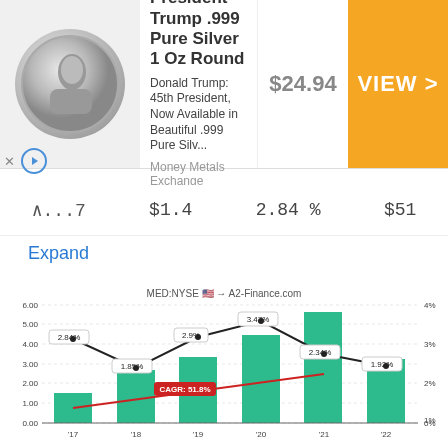[Figure (photo): Advertisement banner for President Trump .999 Pure Silver 1 Oz Round coin from Money Metals Exchange, priced at $24.94 with a VIEW button]
...7   $1.4   2.84 %   $51
Expand
[Figure (bar-chart): MED:NYSE 🇺🇸 → A2-Finance.com]